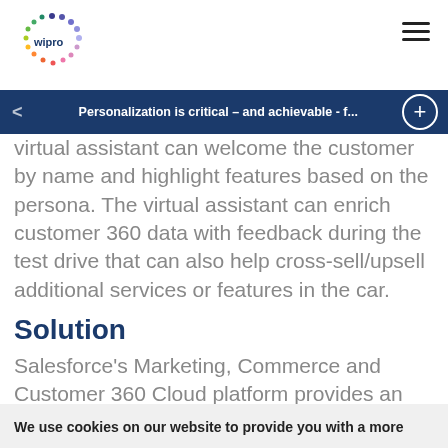[Figure (logo): Wipro logo with colorful dot circle pattern]
Personalization is critical – and achievable - f...
The personalization should carry throughout the car journey, including the test drive where the customer preferences like seat settings and virtual assistant can welcome the customer by name and highlight features based on the persona. The virtual assistant can enrich customer 360 data with feedback during the test drive that can also help cross-sell/upsell additional services or features in the car.
Solution
Salesforce's Marketing, Commerce and Customer 360 Cloud platform provides an ideal response to the above complications and challenges...
We use cookies on our website to provide you with a more personalised digital experience. To learn more about how we